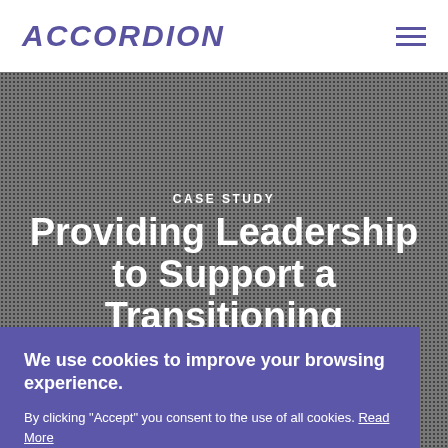ACCORDION
CASE STUDY
Providing Leadership to Support a Transitioning
We use cookies to improve your browsing experience. By clicking "Accept" you consent to the use of all cookies. Read More
COOKIE SETTINGS    ACCEPT